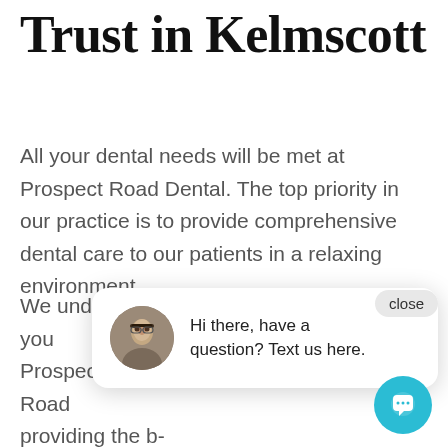Dental Care You Can Trust in Kelmscott
All your dental needs will be met at Prospect Road Dental. The top priority in our practice is to provide comprehensive dental care to our patients in a relaxing environment.
We understand how important it is for you to have complete confidence in your dental team. Prospect Road Dental is committed to providing the best possible care for your dental health. We create the best treatment plan for each patient based on their medical needs and financial considerations.
[Figure (screenshot): Chat popup widget with close button, avatar photo of a woman with glasses, and message 'Hi there, have a question? Text us here.' with a teal circular chat button in the bottom right.]